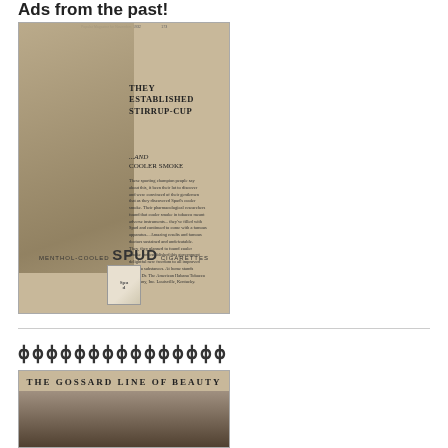Ads from the past!
[Figure (photo): Vintage Spud Menthol-Cooled Cigarettes advertisement from a past magazine. Features a equestrian scene with a woman and horse on the left, bold headline 'They Established Stirrup-Cup ...and Cooler Smoke' on the right, body text, and a pack of Spud cigarettes at the bottom.]
[Figure (photo): Bottom of page shows the beginning of a 'The Gossard Line of Beauty' vintage advertisement with a woman's profile photo in sepia/dark tones.]